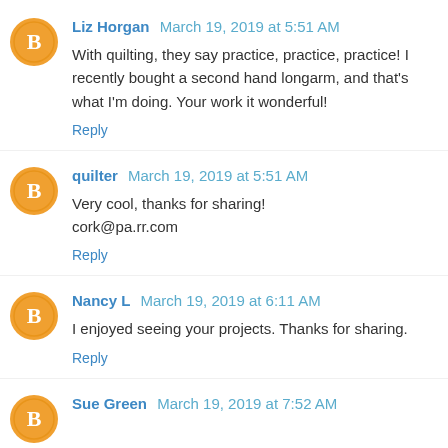Liz Horgan March 19, 2019 at 5:51 AM
With quilting, they say practice, practice, practice! I recently bought a second hand longarm, and that's what I'm doing. Your work it wonderful!
Reply
quilter March 19, 2019 at 5:51 AM
Very cool, thanks for sharing!
cork@pa.rr.com
Reply
Nancy L March 19, 2019 at 6:11 AM
I enjoyed seeing your projects. Thanks for sharing.
Reply
Sue Green March 19, 2019 at 7:52 AM